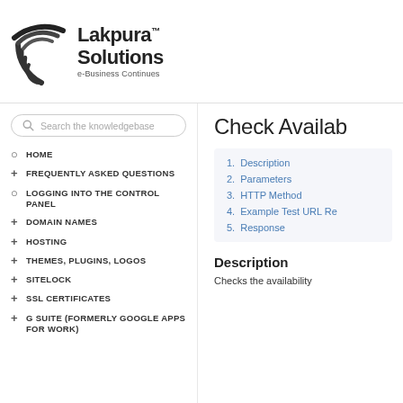[Figure (logo): Lakpura Solutions logo with concentric arcs icon and tagline 'e-Business Continues']
[Figure (other): Search bar with placeholder text 'Search the knowledgebase']
HOME
FREQUENTLY ASKED QUESTIONS
LOGGING INTO THE CONTROL PANEL
DOMAIN NAMES
HOSTING
THEMES, PLUGINS, LOGOS
SITELOCK
SSL CERTIFICATES
G SUITE (FORMERLY GOOGLE APPS FOR WORK)
Check Availab
1. Description
2. Parameters
3. HTTP Method
4. Example Test URL Re
5. Response
Description
Checks the availability